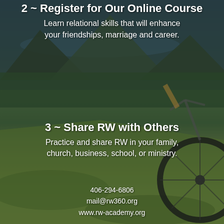2 ~ Register for Our Online Course
Learn relational skills that will enhance your friendships, marriage and career.
[Figure (photo): Outdoor background photo showing mountain landscape with forest, a lake or river in the distance, green meadow in foreground, and a person holding a mountain bike on the right side.]
3 ~ Share RW with Others
Practice and share RW in your family, church, business, school, or ministry.
406-294-6806
mail@rw360.org
www.rw-academy.org